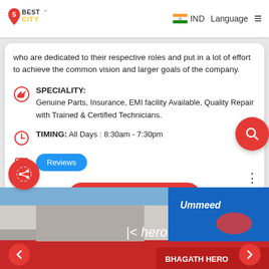5BestCity | IND | Language
who are dedicated to their respective roles and put in a lot of effort to achieve the common vision and larger goals of the company.
SPECIALITY: Genuine Parts, Insurance, EMI facility Available, Quality Repair with Trained & Certified Technicians.
TIMING: All Days : 8:30am - 7:30pm
Reviews
View Contact
[Figure (photo): Hero MotoCorp dealership exterior with red signage reading BHAGATH HERO and Ummeed promotional banner with scooter]